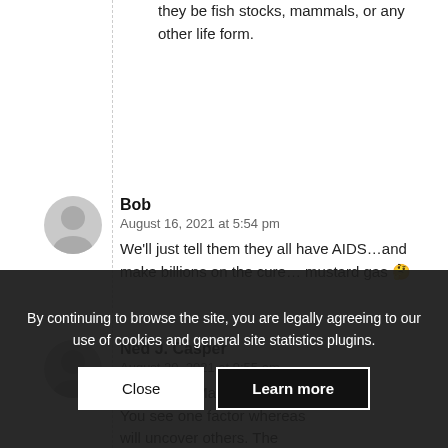they be fish stocks, mammals, or any other life form.
Bob
August 16, 2021 at 5:54 pm
We'll just tell them they all have AIDS…and make billions on the cure… mustard gas 🤔
Ned J. Casper
August 20, 2021 at 9:55 am
@ Poupon Marx
You see one factor whereas will uncover others. The micro-European record is mixed, and it takes more than divine will without adaptations to cope with the present
By continuing to browse the site, you are legally agreeing to our use of cookies and general site statistics plugins.